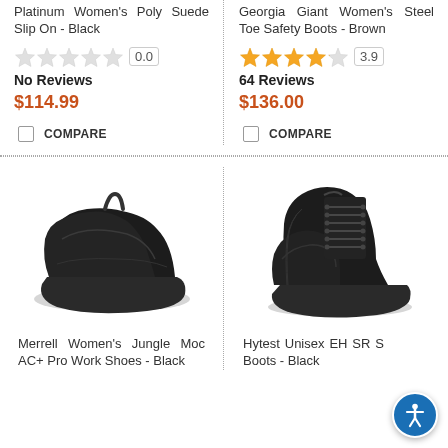Platinum Women's Poly Suede Slip On - Black
Georgia Giant Women's Steel Toe Safety Boots - Brown
No Reviews
64 Reviews
$114.99
$136.00
COMPARE
COMPARE
[Figure (photo): Black Merrell Women's Jungle Moc AC+ Pro Work Shoes slip-on style]
[Figure (photo): Black Hytest Unisex EH SR Steel Toe Boots lace-up ankle boot]
Merrell Women's Jungle Moc AC+ Pro Work Shoes - Black
Hytest Unisex EH SR S Boots - Black